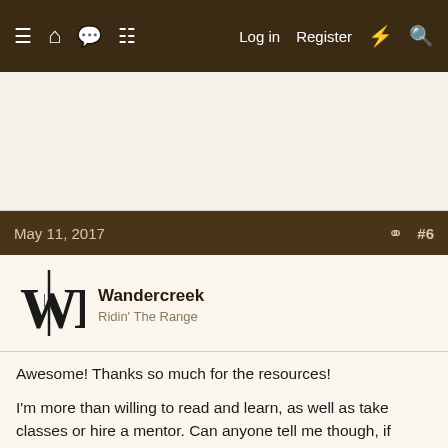≡  🏠  💬  ▦  Log in  Register  ⚡  🔍
[Figure (other): Advertisement / blank area]
May 11, 2017   #6
Wandercreek
Ridin' The Range
Awesome! Thanks so much for the resources!

I'm more than willing to read and learn, as well as take classes or hire a mentor. Can anyone tell me though, if starting a hive is a seasonal thing? I ask because if it is a spring time project, I need to get to learning fast, or if it stays an autumn or summer thing, I can sign up for a later class and read a bit more leisurely in the meantime.
To remove this ad, sign-up here.